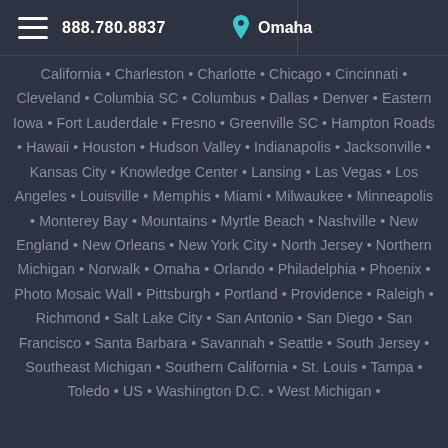888.780.8837   Omaha
California • Charleston • Charlotte • Chicago • Cincinnati • Cleveland • Columbia SC • Columbus • Dallas • Denver • Eastern Iowa • Fort Lauderdale • Fresno • Greenville SC • Hampton Roads • Hawaii • Houston • Hudson Valley • Indianapolis • Jacksonville • Kansas City • Knowledge Center • Lansing • Las Vegas • Los Angeles • Louisville • Memphis • Miami • Milwaukee • Minneapolis • Monterey Bay • Mountains • Myrtle Beach • Nashville • New England • New Orleans • New York City • North Jersey • Northern Michigan • Norwalk • Omaha • Orlando • Philadelphia • Phoenix • Photo Mosaic Wall • Pittsburgh • Portland • Providence • Raleigh • Richmond • Salt Lake City • San Antonio • San Diego • San Francisco • Santa Barbara • Savannah • Seattle • South Jersey • Southeast Michigan • Southern California • St. Louis • Tampa • Toledo • US • Washington D.C. • West Michigan •